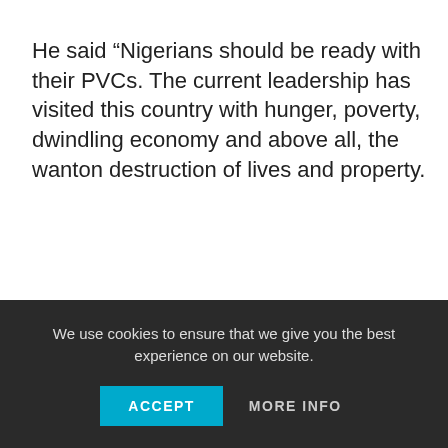He said “Nigerians should be ready with their PVCs. The current leadership has visited this country with hunger, poverty, dwindling economy and above all, the wanton destruction of lives and property.
We use cookies to ensure that we give you the best experience on our website.
ACCEPT
MORE INFO